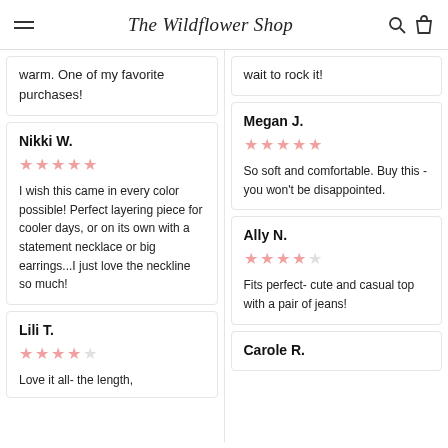The Wildflower Shop
warm. One of my favorite purchases!
wait to rock it!